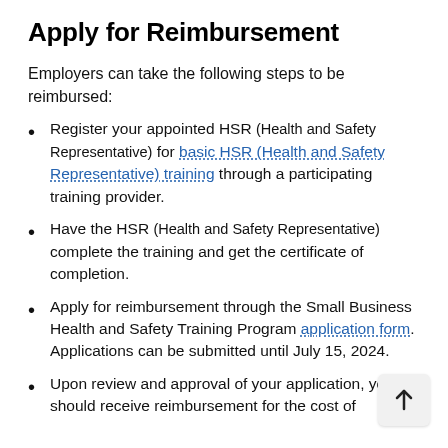Apply for Reimbursement
Employers can take the following steps to be reimbursed:
Register your appointed HSR (Health and Safety Representative) for basic HSR (Health and Safety Representative) training through a participating training provider.
Have the HSR (Health and Safety Representative) complete the training and get the certificate of completion.
Apply for reimbursement through the Small Business Health and Safety Training Program application form. Applications can be submitted until July 15, 2024.
Upon review and approval of your application, you should receive reimbursement for the cost of